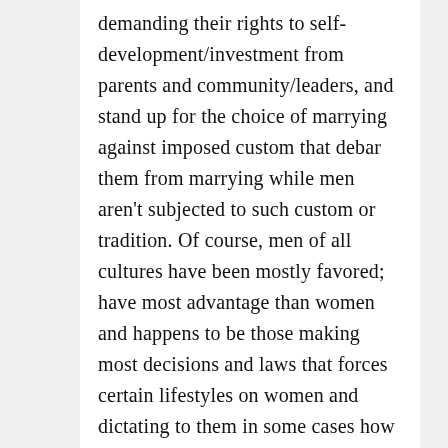demanding their rights to self-development/investment from parents and community/leaders, and stand up for the choice of marrying against imposed custom that debar them from marrying while men aren't subjected to such custom or tradition. Of course, men of all cultures have been mostly favored; have most advantage than women and happens to be those making most decisions and laws that forces certain lifestyles on women and dictating to them in some cases how to think. See women being paid lesser than men before Obama signed equal pay for